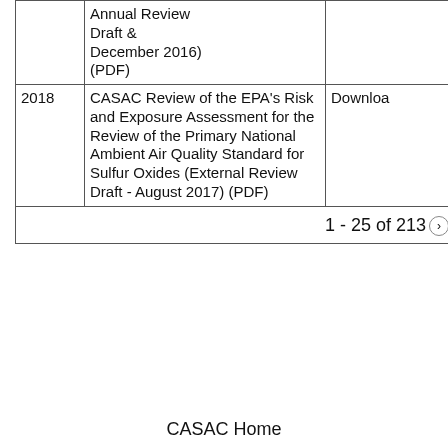| Year | Title | Link |
| --- | --- | --- |
|  | Annual Review Draft & December 2016) (PDF) |  |
| 2018 | CASAC Review of the EPA's Risk and Exposure Assessment for the Review of the Primary National Ambient Air Quality Standard for Sulfur Oxides (External Review Draft - August 2017) (PDF) | Download |
|  | 1 - 25 of 213 › |  |
CASAC Home